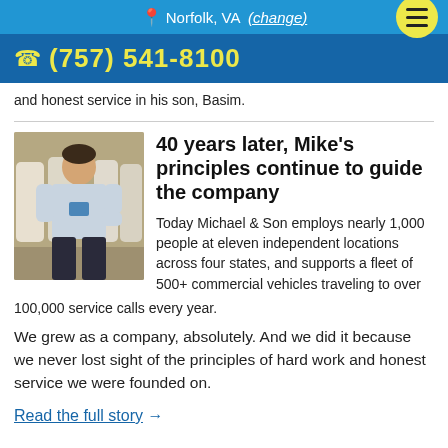Norfolk, VA  (change)
(757) 541-8100
and honest service in his son, Basim.
40 years later, Mike's principles continue to guide the company
[Figure (photo): Man in light blue shirt standing in a warehouse with water heaters]
Today Michael & Son employs nearly 1,000 people at eleven independent locations across four states, and supports a fleet of 500+ commercial vehicles traveling to over 100,000 service calls every year.
We grew as a company, absolutely. And we did it because we never lost sight of the principles of hard work and honest service we were founded on.
Read the full story →